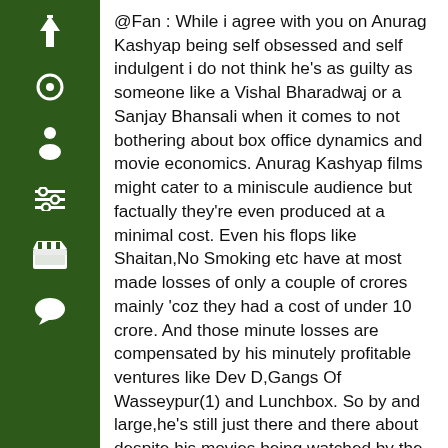@Fan : While i agree with you on Anurag Kashyap being self obsessed and self indulgent i do not think he's as guilty as someone like a Vishal Bharadwaj or a Sanjay Bhansali when it comes to not bothering about box office dynamics and movie economics. Anurag Kashyap films might cater to a miniscule audience but factually they're even produced at a minimal cost. Even his flops like Shaitan,No Smoking etc have at most made losses of only a couple of crores mainly 'coz they had a cost of under 10 crore. And those minute losses are compensated by his minutely profitable ventures like Dev D,Gangs Of Wasseypur(1) and Lunchbox. So by and large,he's still just there and there about despite his movies being watched by the 5-6% of the so-called "elite" sections of the audiences typically seen in the gold class ambience and at movie premiers and special screenings! Now contrast that to the likes of Bharadwaj and Bhansali (the moderately profitable Ram-Leela not withstanding) these guys make expensive extravagant films with A listers on a regular basis and yet create